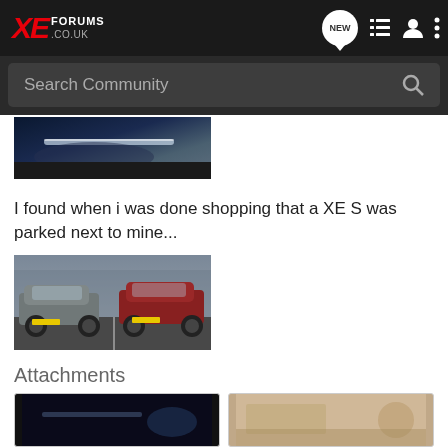XE FORUMS .CO.UK
Search Community
[Figure (photo): Partial view of a dark blue car detail, close-up shot]
I found when i was done shopping that a XE S was parked next to mine...
[Figure (photo): Two Jaguar XE cars parked side by side in a parking lot, one grey and one red]
Attachments
[Figure (photo): Dark close-up photo of a car]
[Figure (photo): Interior/detail photo of a car]